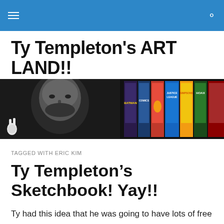Ty Templeton's ART LAND!!
Ty Templeton's ART LAND!!
[Figure (photo): Banner image showing a black-and-white photo of Ty Templeton on the left alongside a row of colorful comic book covers including titles like Justice League, Simpsons, and Hoax.]
TAGGED WITH ERIC KIM
Ty Templeton's Sketchbook! Yay!!
Ty had this idea that he was going to have lots of free time once he finished up his last assignment–ha! He forgot that